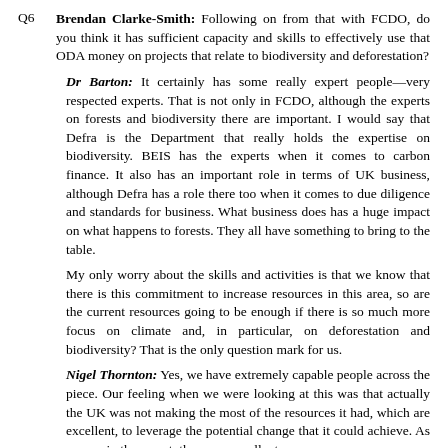Q6 Brendan Clarke-Smith: Following on from that with FCDO, do you think it has sufficient capacity and skills to effectively use that ODA money on projects that relate to biodiversity and deforestation?
Dr Barton: It certainly has some really expert people—very respected experts. That is not only in FCDO, although the experts on forests and biodiversity there are important. I would say that Defra is the Department that really holds the expertise on biodiversity. BEIS has the experts when it comes to carbon finance. It also has an important role in terms of UK business, although Defra has a role there too when it comes to due diligence and standards for business. What business does has a huge impact on what happens to forests. They all have something to bring to the table.
My only worry about the skills and activities is that we know that there is this commitment to increase resources in this area, so are the current resources going to be enough if there is so much more focus on climate and, in particular, on deforestation and biodiversity? That is the only question mark for us.
Nigel Thornton: Yes, we have extremely capable people across the piece. Our feeling when we were looking at this was that actually the UK was not making the most of the resources it had, which are excellent, to leverage the potential change that it could achieve. As we say in the report, there are excellent...